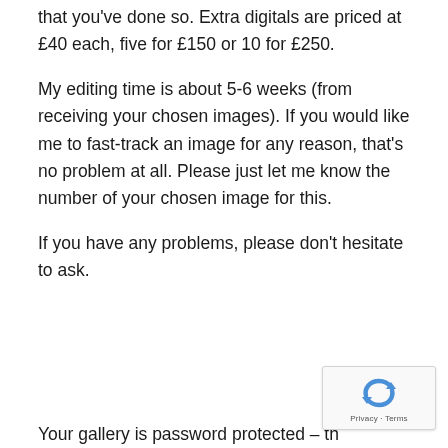that you've done so. Extra digitals are priced at £40 each, five for £150 or 10 for £250.
My editing time is about 5-6 weeks (from receiving your chosen images). If you would like me to fast-track an image for any reason, that's no problem at all. Please just let me know the number of your chosen image for this.
If you have any problems, please don't hesitate to ask.
Your gallery is password protected – th